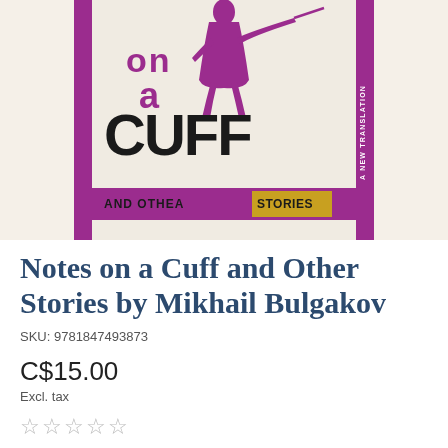[Figure (photo): Book cover of 'Notes on a Cuff and Other Stories' by Mikhail Bulgakov — A New Translation. Cover shows a purple/magenta silhouette of a figure with a sword, large bold text 'on a CUFF' in black, 'AND OTHER STORIES' in a purple banner at the bottom, on a cream background with a purple border frame.]
Notes on a Cuff and Other Stories by Mikhail Bulgakov
SKU: 9781847493873
C$15.00
Excl. tax